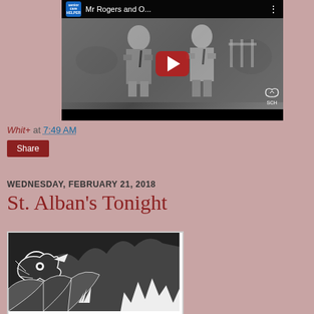[Figure (screenshot): YouTube video thumbnail showing 'Mr Rogers and O...' with two men seated, one in uniform, with a large red YouTube play button overlay. SCH (SeniorCareHelper) logo in top-left corner.]
Whit+ at 7:49 AM
Share
WEDNESDAY, FEBRUARY 21, 2018
St. Alban's Tonight
[Figure (illustration): Black and white woodcut or linocut style illustration with abstract animal/creature figures]